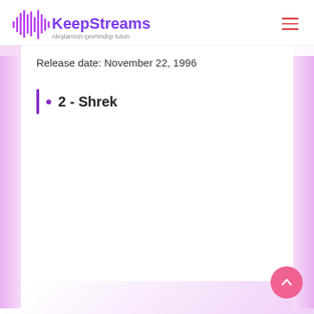KeepStreams — Akışlarınızı çevrimdışı tutun
Release date: November 22, 1996
2 - Shrek